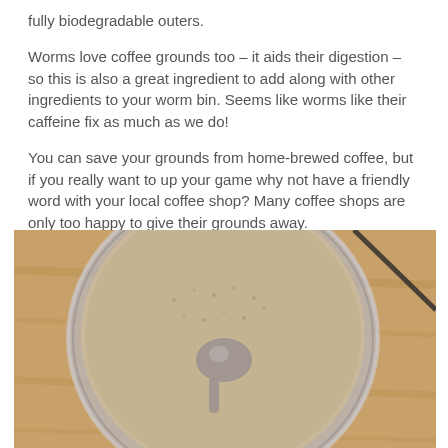fully biodegradable outers.
Worms love coffee grounds too – it aids their digestion – so this is also a great ingredient to add along with other ingredients to your worm bin. Seems like worms like their caffeine fix as much as we do!
You can save your grounds from home-brewed coffee, but if you really want to up your game why not have a friendly word with your local coffee shop? Many coffee shops are only too happy to give their grounds away.
[Figure (photo): Overhead view of a glass or metal cup filled with coffee grounds, with a small spoon visible in the grounds, placed on a wooden surface.]